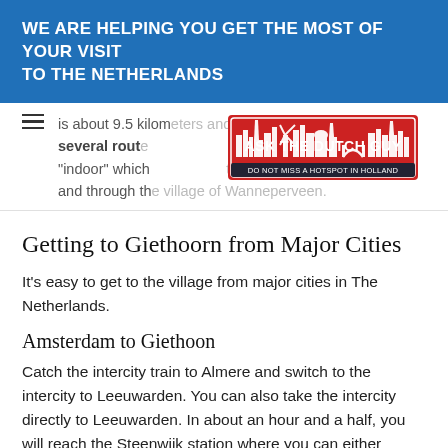WE ARE HELPING YOU GET THE MOST OF YOUR VISIT TO THE NETHERLANDS
is about 9.5 kilometers and you can choose from several routes. One of the popular routes is "indoor" which goes through the farmlands and through the village of Wanneperveen.
[Figure (logo): Ask The Dutch Guy logo - red city skyline silhouette with text 'ASK THE DUTCH GUY' and 'DO NOT MISS A HOTSPOT IN HOLLAND']
Getting to Giethoorn from Major Cities
It's easy to get to the village from major cities in The Netherlands.
Amsterdam to Giethoon
Catch the intercity train to Almere and switch to the intercity to Leeuwarden. You can also take the intercity directly to Leeuwarden. In about an hour and a half, you will reach the Steenwijk station where you can either take the bus, hire a taxi or travel the village...